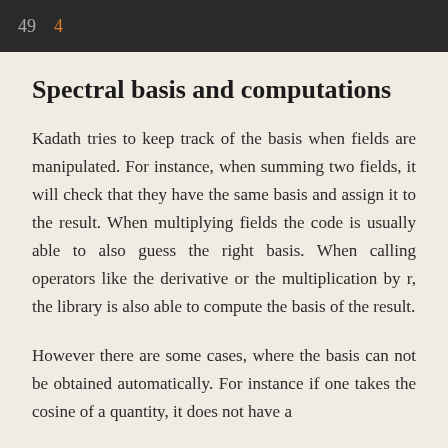49  4
Spectral basis and computations
Kadath tries to keep track of the basis when fields are manipulated. For instance, when summing two fields, it will check that they have the same basis and assign it to the result. When multiplying fields the code is usually able to also guess the right basis. When calling operators like the derivative or the multiplication by r, the library is also able to compute the basis of the result.
However there are some cases, where the basis can not be obtained automatically. For instance if one takes the cosine of a quantity, it does not have a